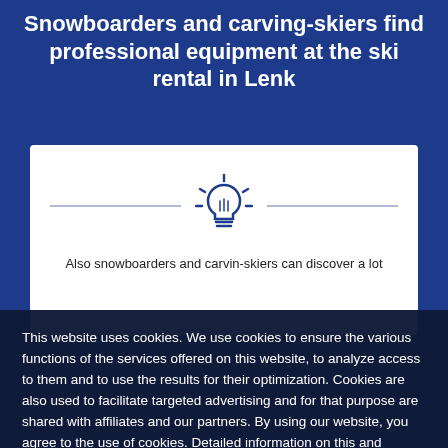Snowboarders and carving-skiers find professional equipment at the ski rental in Lenk
[Figure (illustration): White card with a light bulb icon centered between two horizontal lines, suggesting a tip or info callout]
Also snowboarders and carvin-skiers can discover a lot
This website uses cookies. We use cookies to ensure the various functions of the services offered on this website, to analyze access to them and to use the results for their optimization. Cookies are also used to facilitate targeted advertising and for that purpose are shared with affiliates and our partners. By using our website, you agree to the use of cookies. Detailed information on this and information on how you can individually restrict or exclude the functionality of cookies can be found in our privacy policy.   Details
Cookie Settings
OK